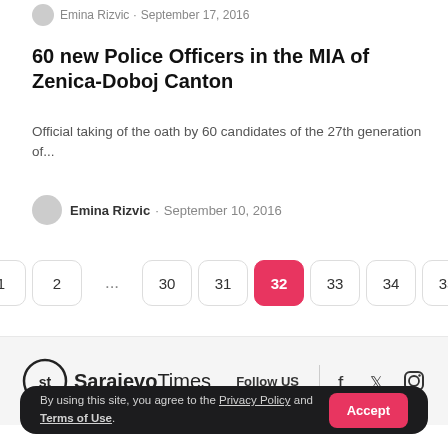Emina Rizvic · September 17, 2016
60 new Police Officers in the MIA of Zenica-Doboj Canton
Official taking of the oath by 60 candidates of the 27th generation of...
Emina Rizvic · September 10, 2016
← 1 2 ... 30 31 32 33 34 35 →
[Figure (logo): SarajevoTimes logo with Follow US and social icons]
By using this site, you agree to the Privacy Policy and Terms of Use.